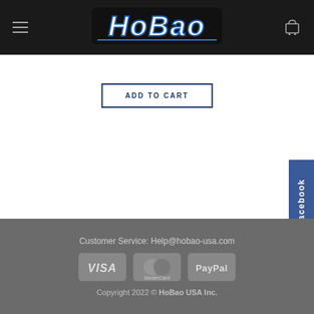HoBao (logo header with menu and cart icons)
ADD TO CART
[Figure (other): Facebook social sidebar button, blue background with vertical text 'Facebook']
Customer Service: Help@hobao-usa.com
VISA MasterCard PayPal
Copyright 2022 © HoBao USA Inc.